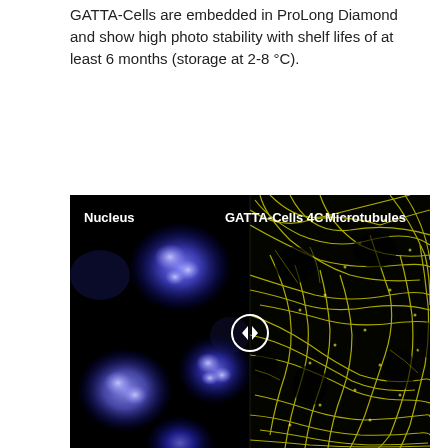GATTA-Cells are embedded in ProLong Diamond and show high photo stability with shelf lifes of at least 6 months (storage at 2-8 °C).
[Figure (photo): Split fluorescence microscopy image labeled 'GATTA-Cells 4C'. Left half shows cell nuclei stained in blue fluorescence against black background, labeled 'Nucleus'. Right half shows microtubule network in bright yellow/green fluorescence against black background, labeled 'Microtubules'. A white circle with left/right arrows appears at the center split divider.]